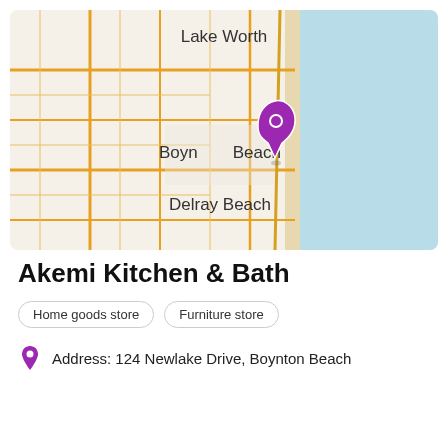[Figure (map): Map showing coastal South Florida including Lake Worth, Boynton Beach, and Delray Beach, with a purple location pin placed at Boynton Beach near the coast.]
Akemi Kitchen & Bath
Home goods store
Furniture store
Address: 124 Newlake Drive, Boynton Beach